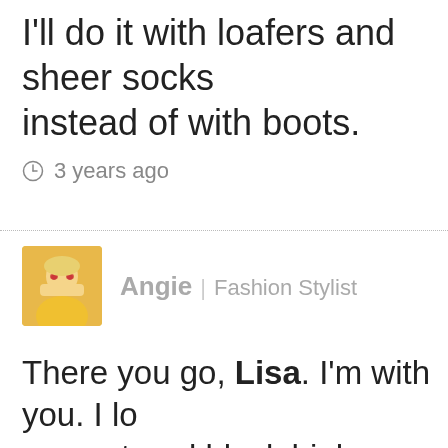I'll do it with loafers and sheer socks instead of with boots.
⊙ 3 years ago
Angie | Fashion Stylist
There you go, Lisa. I'm with you. I lo my on trend black high waisted jean with these shoes – CONTRAST, and ankle exposure. (I don't wear black